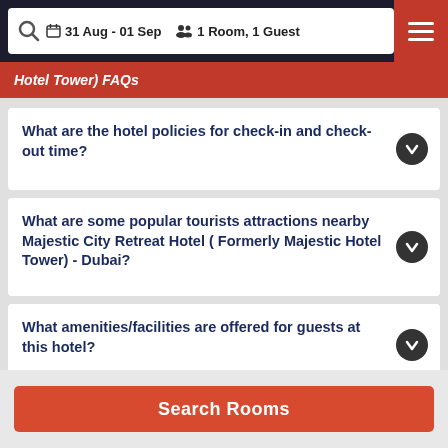31 Aug - 01 Sep  1 Room, 1 Guest
Hotel Tower) FAQs
What are the hotel policies for check-in and check-out time?
What are some popular tourists attractions nearby Majestic City Retreat Hotel ( Formerly Majestic Hotel Tower) - Dubai?
What amenities/facilities are offered for guests at this hotel?
What eating options are available at the property?
Search Rooms